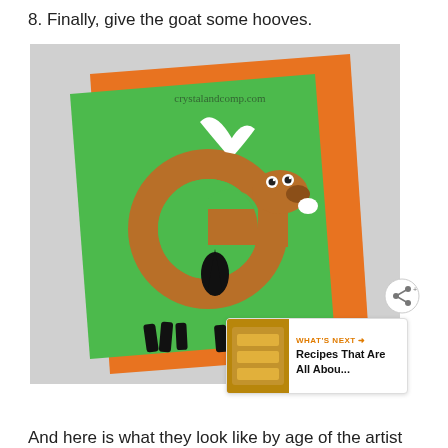8. Finally, give the goat some hooves.
[Figure (photo): A craft project showing a letter G transformed into a goat character. The G is made from brown paper on a green rectangular background, with the green paper layered on orange paper. The goat has white horns, googly eyes, a black beard/teardrop shape, a small white beard, and black hooves at the bottom. A watermark reads 'crystalandcomp.com'.]
And here is what they look like by age of the artist